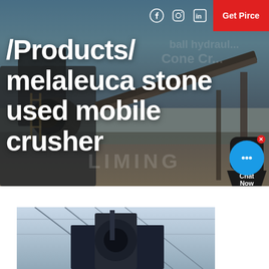[Figure (photo): Hero background image showing an industrial stone crusher / mobile crushing plant with conveyor belts and machinery at a job site, with blue sky background. Overlaid watermark text 'LIMING' and cone crusher text visible.]
/Products/melaleuca stone used mobile crusher
[Figure (photo): Bottom partial photo showing interior of an industrial facility or warehouse with steel roof structure and dark mechanical equipment visible.]